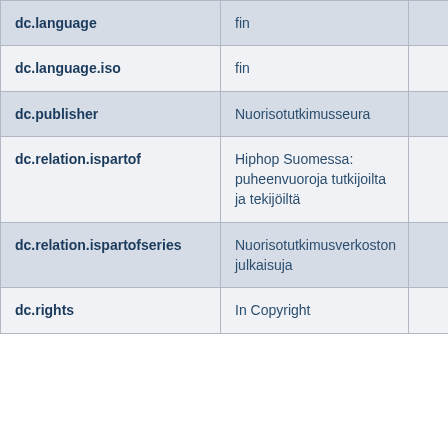| dc.language | fin |  |
| dc.language.iso | fin |  |
| dc.publisher | Nuorisotutkimusseura |  |
| dc.relation.ispartof | Hiphop Suomessa: puheenvuoroja tutkijoilta ja tekijöiltä |  |
| dc.relation.ispartofseries | Nuorisotutkimusverkoston julkaisuja |  |
| dc.rights | In Copyright |  |